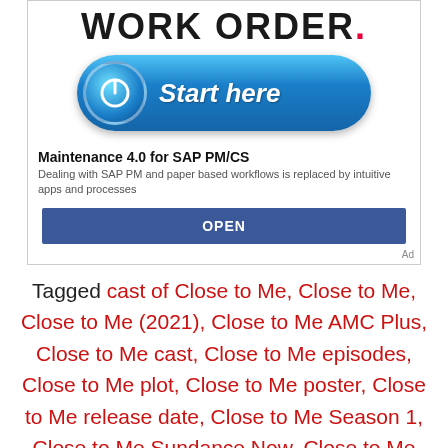[Figure (screenshot): Advertisement banner for 'Maintenance 4.0 for SAP PM/CS' app. Contains a 'WORK ORDER.' heading in large bold text, a blue rounded button with power icon and 'Start here' text, a title 'Maintenance 4.0 for SAP PM/CS', description text, and a blue 'OPEN' button. Ad label in bottom right.]
Tagged cast of Close to Me, Close to Me, Close to Me (2021), Close to Me AMC Plus, Close to Me cast, Close to Me episodes, Close to Me plot, Close to Me poster, Close to Me release date, Close to Me Season 1, Close to Me Sundance Now, Close to Me